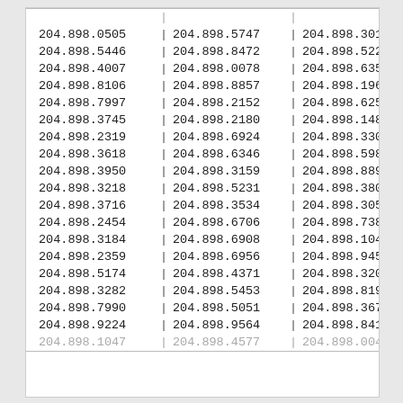| col1 | col2 | col3 |
| --- | --- | --- |
| 204.898.0505 | 204.898.5747 | 204.898.3010 |
| 204.898.5446 | 204.898.8472 | 204.898.5223 |
| 204.898.4007 | 204.898.0078 | 204.898.6350 |
| 204.898.8106 | 204.898.8857 | 204.898.1963 |
| 204.898.7997 | 204.898.2152 | 204.898.6257 |
| 204.898.3745 | 204.898.2180 | 204.898.1484 |
| 204.898.2319 | 204.898.6924 | 204.898.3308 |
| 204.898.3618 | 204.898.6346 | 204.898.5985 |
| 204.898.3950 | 204.898.3159 | 204.898.8896 |
| 204.898.3218 | 204.898.5231 | 204.898.3809 |
| 204.898.3716 | 204.898.3534 | 204.898.3057 |
| 204.898.2454 | 204.898.6706 | 204.898.7385 |
| 204.898.3184 | 204.898.6908 | 204.898.1041 |
| 204.898.2359 | 204.898.6956 | 204.898.9458 |
| 204.898.5174 | 204.898.4371 | 204.898.3200 |
| 204.898.3282 | 204.898.5453 | 204.898.8192 |
| 204.898.7990 | 204.898.5051 | 204.898.3674 |
| 204.898.9224 | 204.898.9564 | 204.898.8413 |
| 204.898.1047 | 204.898.4577 | 204.898.0040 |